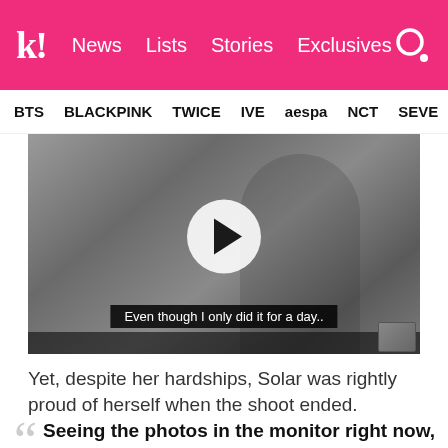k! News | Lists | Stories | Exclusives
BTS  BLACKPINK  TWICE  IVE  aespa  NCT  SEVE
[Figure (screenshot): Video thumbnail showing a woman sitting in a chair with a play button overlay. Subtitle text reads: Even though I only did it for a day..]
Yet, despite her hardships, Solar was rightly proud of herself when the shoot ended.
Seeing the photos in the monitor right now, it made me think I worked hard. To be honest, I did it, I did it for a day..